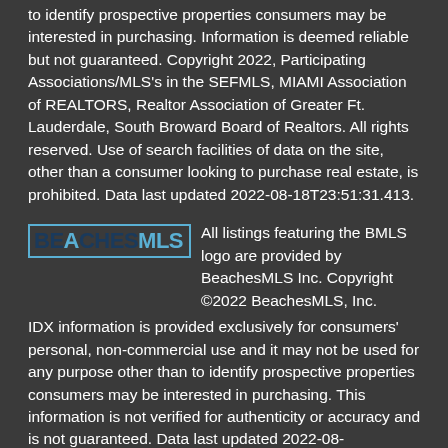to identify prospective properties consumers may be interested in purchasing. Information is deemed reliable but not guaranteed. Copyright 2022, Participating Associations/MLS's in the SEFMLS, MIAMI Association of REALTORS, Realtor Association of Greater Ft. Lauderdale, South Broward Board of Realtors. All rights reserved. Use of search facilities of data on the site, other than a consumer looking to purchase real estate, is prohibited. Data last updated 2022-08-18T23:51:31.413.
[Figure (logo): BeachesMLS logo — BEACHES in dark navy bold with teal A, MLS in teal bold, enclosed in a teal border rectangle]
All listings featuring the BMLS logo are provided by BeachesMLS Inc. Copyright ©2022 BeachesMLS, Inc.
IDX information is provided exclusively for consumers' personal, non-commercial use and it may not be used for any purpose other than to identify prospective properties consumers may be interested in purchasing. This information is not verified for authenticity or accuracy and is not guaranteed. Data last updated 2022-08-19T00:19:13.783.
© 2022 Daytona Beach Area Association of Realtors®, Inc.All rights reserved. IDX information is provided exclusively for